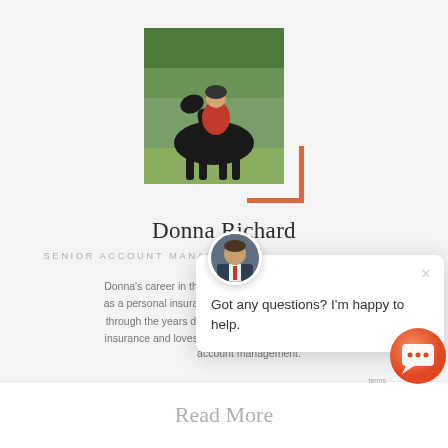[Figure (photo): Profile photo of Donna Richard riding a dark horse in a field, wearing a red shirt and helmet. Photo has an orange L-shaped bracket accent in the bottom-right corner.]
Donna Richard
SENIOR ACCOUNT MANAGER
Donna's career in the i... as a personal insuranc... through the years dev... insurance and loves w... account management.
[Figure (screenshot): Chat popup overlay showing a male avatar photo, a close (x) button, and the message: Got any questions? I'm happy to help.]
Read More